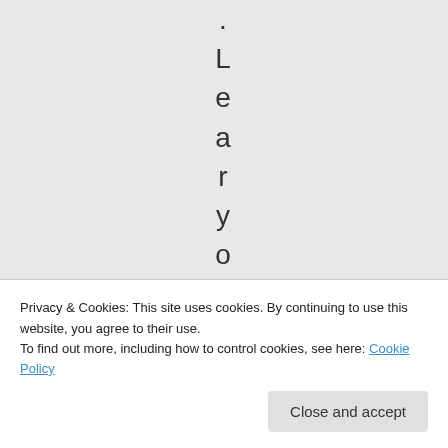[Figure (screenshot): Vertically stacked individual characters spelling out '.Learyon' in dark color followed by 'July' in blue, displayed as a rotated/vertical text element on a light gray background]
Privacy & Cookies: This site uses cookies. By continuing to use this website, you agree to their use.
To find out more, including how to control cookies, see here: Cookie Policy